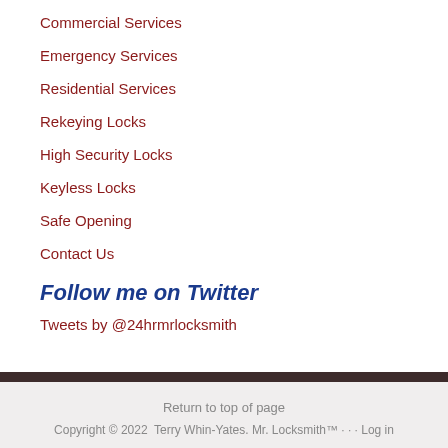Commercial Services
Emergency Services
Residential Services
Rekeying Locks
High Security Locks
Keyless Locks
Safe Opening
Contact Us
Follow me on Twitter
Tweets by @24hrmrlocksmith
Return to top of page
Copyright © 2022  Terry Whin-Yates. Mr. Locksmith™ · · · Log in